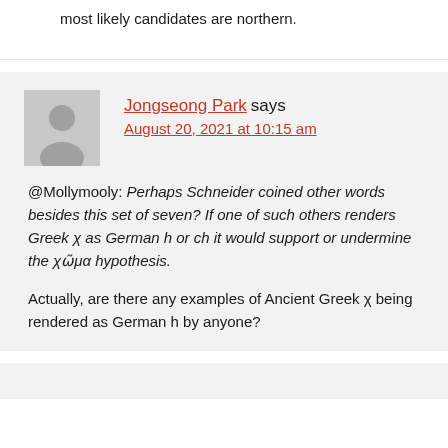most likely candidates are northern.
Jongseong Park says
August 20, 2021 at 10:15 am
@Mollymooly: Perhaps Schneider coined other words besides this set of seven? If one of such others renders Greek χ as German h or ch it would support or undermine the χῶμα hypothesis.
Actually, are there any examples of Ancient Greek χ being rendered as German h by anyone?